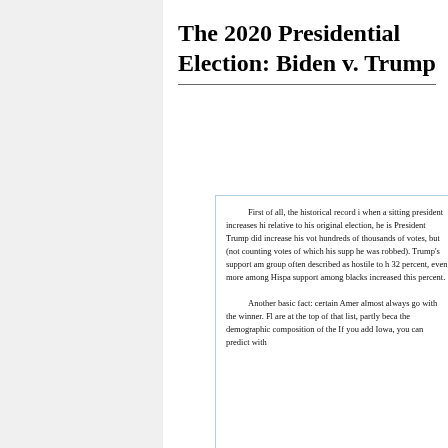The 2020 Presidential Election: Biden v. Trump
First of all, the historical record is that when a sitting president increases his vote relative to his original election, he is re-elected. President Trump did increase his vote by hundreds of thousands of votes, but (not counting votes of which his supporters say he was robbed). Trump's support among a group often described as hostile to him reached 32 percent, even more among Hispanics, and his support among blacks increased this year to 12 percent.
Another basic fact: certain American states almost always go with the winner. Florida and Ohio are at the top of that list, partly because of the demographic composition of the states. If you add Iowa, you can predict with